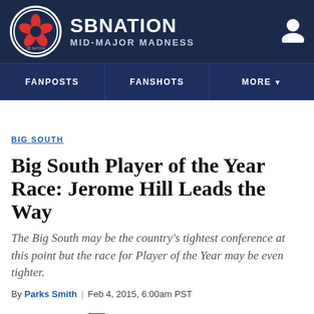SB NATION | MID-MAJOR MADNESS
BIG SOUTH
Big South Player of the Year Race: Jerome Hill Leads the Way
The Big South may be the country's tightest conference at this point but the race for Player of the Year may be even tighter.
By Parks Smith | Feb 4, 2015, 6:00am PST